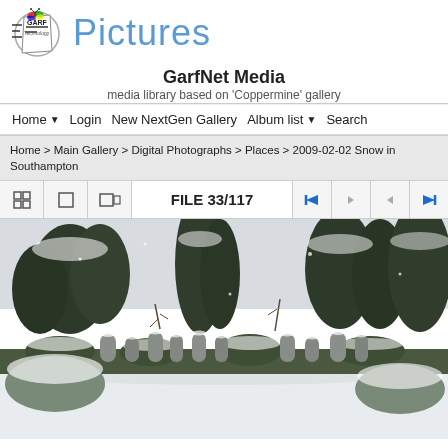Pictures
GarfNet Media
media library based on 'Coppermine' gallery
Home ▾  Login  New NextGen Gallery  Album list ▾  Search
Home > Main Gallery > Digital Photographs > Places > 2009-02-02 Snow in Southampton
FILE 33/117
[Figure (photo): Snow-covered cemetery with gravestones and frost-covered trees in Southampton, 2009-02-02]